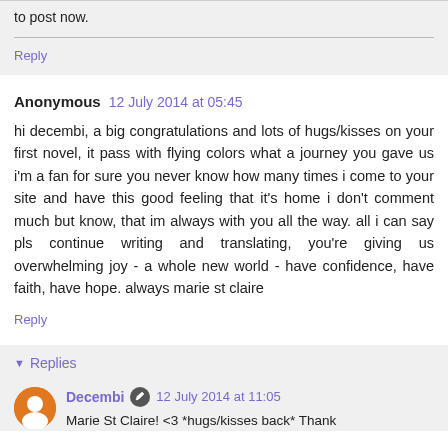to post now.
Reply
Anonymous  12 July 2014 at 05:45
hi decembi, a big congratulations and lots of hugs/kisses on your first novel, it pass with flying colors what a journey you gave us i'm a fan for sure you never know how many times i come to your site and have this good feeling that it's home i don't comment much but know, that im always with you all the way. all i can say pls continue writing and translating, you're giving us overwhelming joy - a whole new world - have confidence, have faith, have hope. always marie st claire
Reply
Replies
Decembi  12 July 2014 at 11:05
Marie St Claire! <3 *hugs/kisses back* Thank